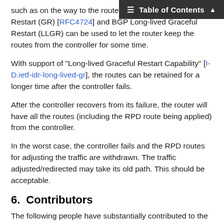Table of Contents
such as on the way to the router, such BGP Graceful Restart (GR) [RFC4724] and BGP Long-lived Graceful Restart (LLGR) can be used to let the router keep the routes from the controller for some time.
With support of "Long-lived Graceful Restart Capability" [I-D.ietf-idr-long-lived-gr], the routes can be retained for a longer time after the controller fails.
After the controller recovers from its failure, the router will have all the routes (including the RPD route being applied) from the controller.
In the worst case, the controller fails and the RPD routes for adjusting the traffic are withdrawn. The traffic adjusted/redirected may take its old path. This should be acceptable.
6.  Contributors
The following people have substantially contributed to the definition of the BGP-LS RPD and to the edition of this